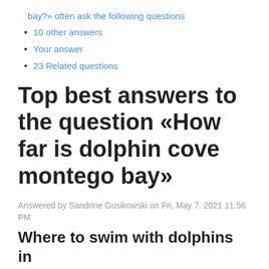bay?» often ask the following questions
10 other answers
Your answer
23 Related questions
Top best answers to the question «How far is dolphin cove montego bay»
Answered by Sandrine Gusikowski on Fri, May 7, 2021 11:56 PM
Where to swim with dolphins in